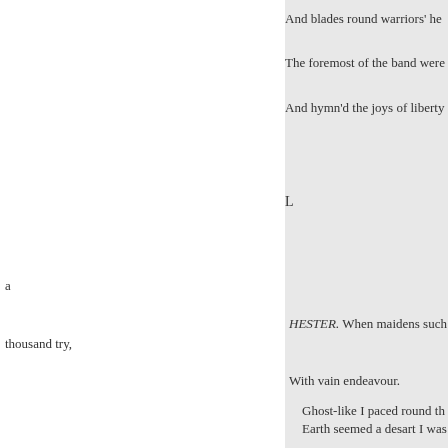And blades round warriors' he
The foremost of the band were
And hymn'd the joys of liberty
L
a
HESTER. When maidens such thousand try,
With vain endeavour.
Ghost-like I paced round th
Earth seemed a desart I was
Seeking to find the old fam
Friend of my bosom, thou m
Why wert not thou born in m
So might we talk of the old
How some they have died, a
And some are taken from m
All, all are gone, the old fam